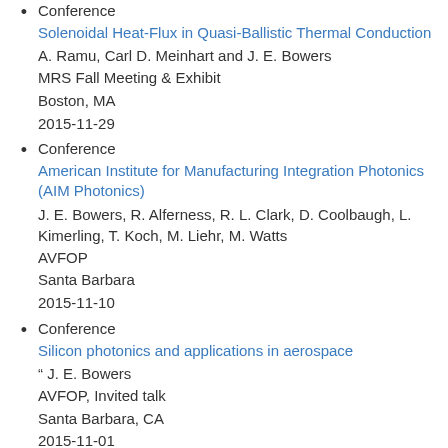Conference
Solenoidal Heat-Flux in Quasi-Ballistic Thermal Conduction
A. Ramu, Carl D. Meinhart and J. E. Bowers
MRS Fall Meeting & Exhibit
Boston, MA
2015-11-29
Conference
American Institute for Manufacturing Integration Photonics (AIM Photonics)
J. E. Bowers, R. Alferness, R. L. Clark, D. Coolbaugh, L. Kimerling, T. Koch, M. Liehr, M. Watts
AVFOP
Santa Barbara
2015-11-10
Conference
Silicon photonics and applications in aerospace
" J. E. Bowers
AVFOP, Invited talk
Santa Barbara, CA
2015-11-01
Conference
Integrated Microwave Photonics
J. E. Bowers